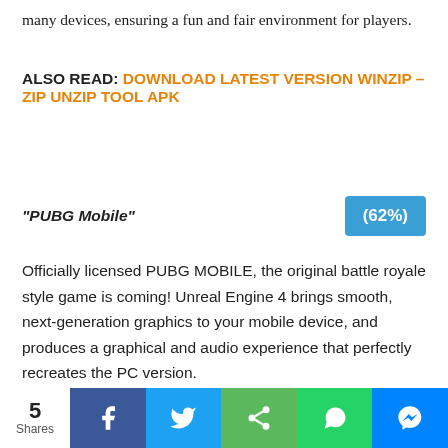many devices, ensuring a fun and fair environment for players.
ALSO READ: DOWNLOAD LATEST VERSION WINZIP – ZIP UNZIP TOOL APK
“PUBG Mobile”
Officially licensed PUBG MOBILE, the original battle royale style game is coming! Unreal Engine 4 brings smooth, next-generation graphics to your mobile device, and produces a graphical and audio experience that perfectly recreates the PC version.
5 Shares | Facebook | Twitter | Share | WhatsApp | Messenger